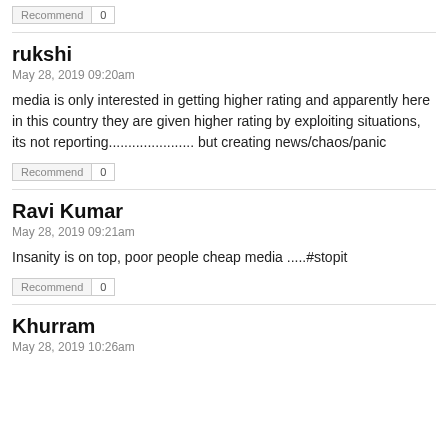Recommend | 0
rukshi
May 28, 2019 09:20am
media is only interested in getting higher rating and apparently here in this country they are given higher rating by exploiting situations, its not reporting...................... but creating news/chaos/panic
Recommend | 0
Ravi Kumar
May 28, 2019 09:21am
Insanity is on top, poor people cheap media .....#stopit
Recommend | 0
Khurram
May 28, 2019 10:26am